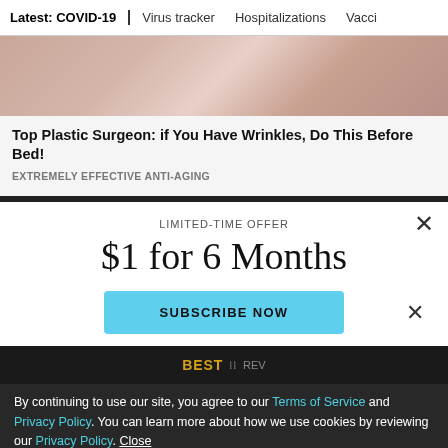Latest: COVID-19 | Virus tracker | Hospitalizations | Vacci
[Figure (photo): Close-up photo of a person's face/skin, flesh tones]
Top Plastic Surgeon: if You Have Wrinkles, Do This Before Bed!
EXTREMELY EFFECTIVE ANTI-AGING
LIMITED-TIME OFFER
$1 for 6 Months
SUBSCRIBE NOW
By continuing to use our site, you agree to our Terms of Service and Privacy Policy. You can learn more about how we use cookies by reviewing our Privacy Policy. Close